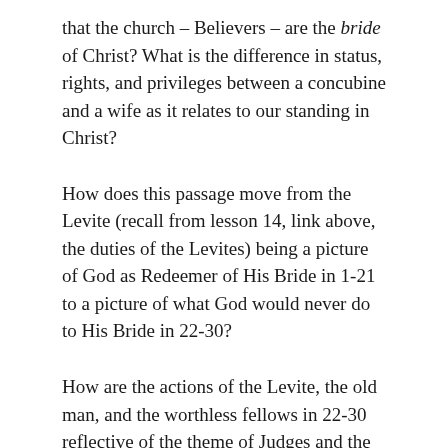that the church – Believers – are the bride of Christ? What is the difference in status, rights, and privileges between a concubine and a wife as it relates to our standing in Christ?
How does this passage move from the Levite (recall from lesson 14, link above, the duties of the Levites) being a picture of God as Redeemer of His Bride in 1-21 to a picture of what God would never do to His Bride in 22-30?
How are the actions of the Levite, the old man, and the worthless fellows in 22-30 reflective of the theme of Judges and the opening concept of this chapter “there was no king in Israel”?
God reveals throughout Scripture a special love, care, and compassion for the most vulnerable, such as